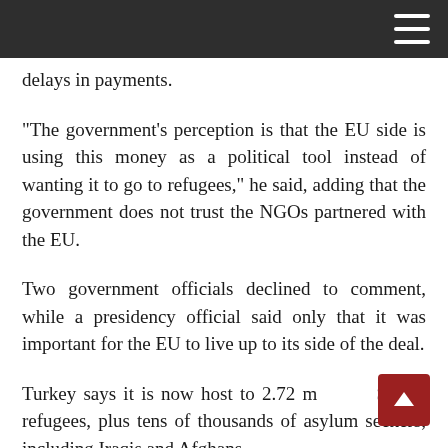delays in payments.
“The government’s perception is that the EU side is using this money as a political tool instead of wanting it to go to refugees,” he said, adding that the government does not trust the NGOs partnered with the EU.
Two government officials declined to comment, while a presidency official said only that it was important for the EU to live up to its side of the deal.
Turkey says it is now host to 2.72 million Syrian refugees, plus tens of thousands of asylum seekers, including Iraqis and Afghans